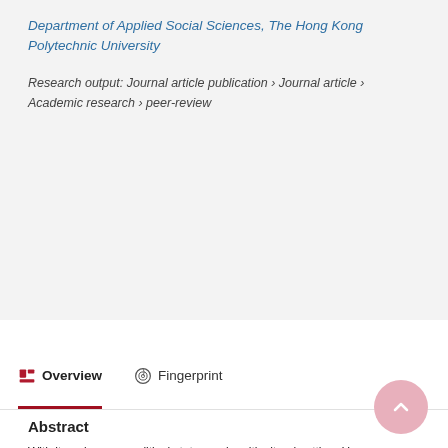Department of Applied Social Sciences, The Hong Kong Polytechnic University
Research output: Journal article publication › Journal article › Academic research › peer-review
Overview
Fingerprint
Abstract
With its unique geopolitical status and multicultural setting, Hong